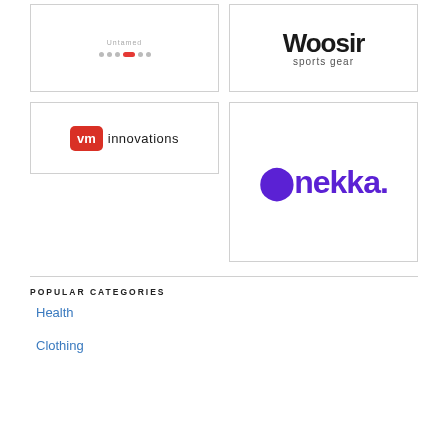[Figure (logo): Top-left logo box with slider/carousel dots indicator]
[Figure (logo): Woosir sports gear logo - bold black text with 'sports gear' subtitle]
[Figure (logo): VM Innovations logo - red box with 'vm' in white, 'innovations' in black]
[Figure (logo): nekka. logo in bold purple/violet text]
POPULAR CATEGORIES
Health
Clothing